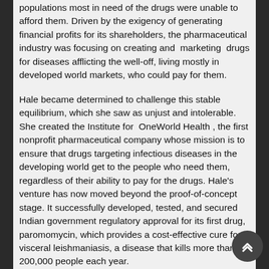populations most in need of the drugs were unable to afford them. Driven by the exigency of generating financial profits for its shareholders, the pharmaceutical industry was focusing on creating and marketing drugs for diseases afflicting the well-off, living mostly in developed world markets, who could pay for them.
Hale became determined to challenge this stable equilibrium, which she saw as unjust and intolerable. She created the Institute for OneWorld Health, the first nonprofit pharmaceutical company whose mission is to ensure that drugs targeting infectious diseases in the developing world get to the people who need them, regardless of their ability to pay for the drugs. Hale's venture has now moved beyond the proof-of-concept stage. It successfully developed, tested, and secured Indian government regulatory approval for its first drug, paromomycin, which provides a cost-effective cure for visceral leishmaniasis, a disease that kills more than 200,000 people each year.
Although it is too early to tell whether Hale will succeed in creating a new equilibrium that assures more equitable treatment of diseases afflicting the poor, she clearly meets the criteria of a social entrepreneur. First, Hale has identified a stable but unjust equilibrium in the pharmaceutical industry; second, she has seen and seized the opportunity to intervene,